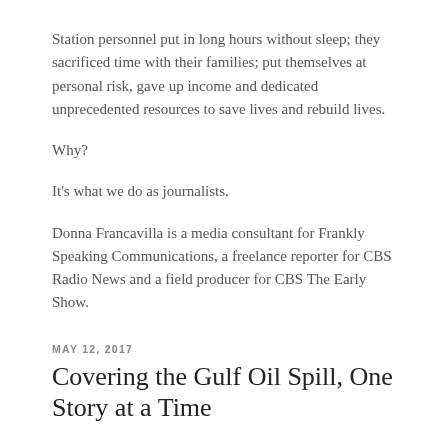Station personnel put in long hours without sleep; they sacrificed time with their families; put themselves at personal risk, gave up income and dedicated unprecedented resources to save lives and rebuild lives.
Why?
It's what we do as journalists.
Donna Francavilla is a media consultant for Frankly Speaking Communications, a freelance reporter for CBS Radio News and a field producer for CBS The Early Show.
MAY 12, 2017
Covering the Gulf Oil Spill, One Story at a Time